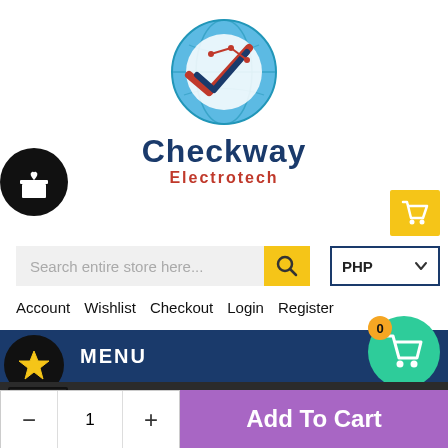[Figure (logo): Checkway Electrotech logo with globe and checkmark circuit design]
Checkway Electrotech
[Figure (infographic): Gift icon in black circle on left side]
[Figure (infographic): Yellow shopping cart button top right]
[Figure (screenshot): Search bar with yellow search button]
[Figure (infographic): PHP currency selector dropdown]
Account  Wishlist  Checkout  Login  Register
MENU
[Figure (infographic): Star icon in black circle]
[Figure (infographic): Teal shopping cart circle with 0 badge]
Home / Best Selling Products / Portable DVD Player with 9 Inch 270
Portable DVD Player with 9 Inch 270 Degree Swivel Scr
$3,800.70
- 1 + Add To Cart